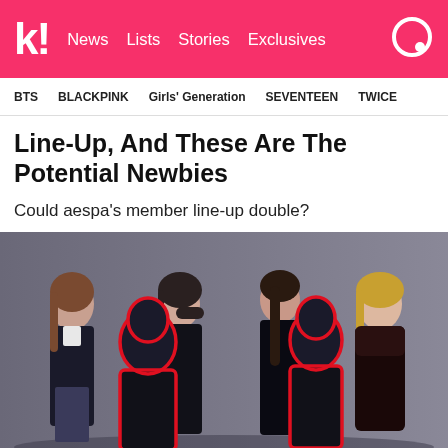k! News Lists Stories Exclusives
BTS   BLACKPINK   Girls' Generation   SEVENTEEN   TWICE
Line-Up, And These Are The Potential Newbies
Could aespa's member line-up double?
[Figure (photo): Photo of aespa's four members in black outfits against a gray background, with two red-outlined silhouettes overlaid in front of them, representing potential new members.]